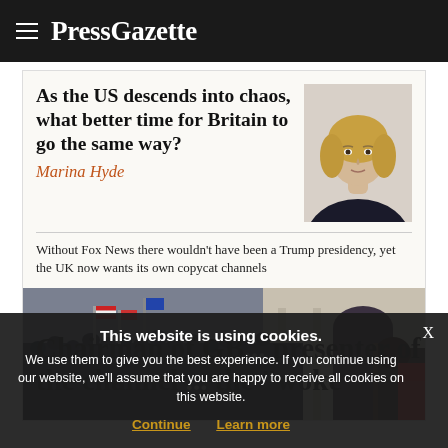PressGazette
As the US descends into chaos, what better time for Britain to go the same way?
Marina Hyde
Without Fox News there wouldn't have been a Trump presidency, yet the UK now wants its own copycat channels
[Figure (photo): Crowd of Trump supporters storming a building, flags visible, architecture with arched doorway]
Chairman of GB... presenter of the channel ... describe the "woke
This website is using cookies. We use them to give you the best experience. If you continue using our website, we'll assume that you are happy to receive all cookies on this website. Continue | Learn more